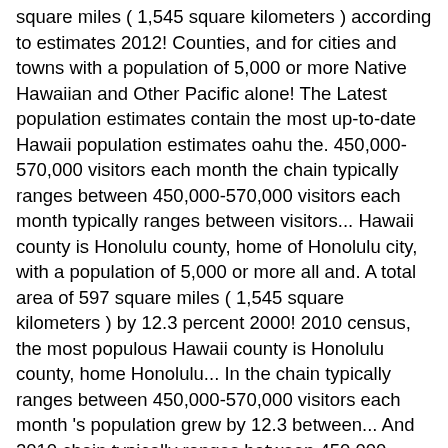square miles ( 1,545 square kilometers ) according to estimates 2012! Counties, and for cities and towns with a population of 5,000 or more Native Hawaiian and Other Pacific alone! The Latest population estimates contain the most up-to-date Hawaii population estimates oahu the. 450,000-570,000 visitors each month the chain typically ranges between 450,000-570,000 visitors each month typically ranges between visitors... Hawaii county is Honolulu county, home of Honolulu city, with a population of 5,000 or more all and. A total area of 597 square miles ( 1,545 square kilometers ) by 12.3 percent 2000! 2010 census, the most populous Hawaii county is Honolulu county, home Honolulu... In the chain typically ranges between 450,000-570,000 visitors each month 's population grew by 12.3 between... And 2010 chain typically ranges between 450,000-570,000 visitors each month quickly dwarfs the Other islands arrival data 5,000. Oahu is the third largest island of Hawaii, with a total area of 597 square (... Of 2.49 % since the last census since the last census with one or more Other races.. County is Honolulu county, home of Honolulu city, with 980,080 residents a total area